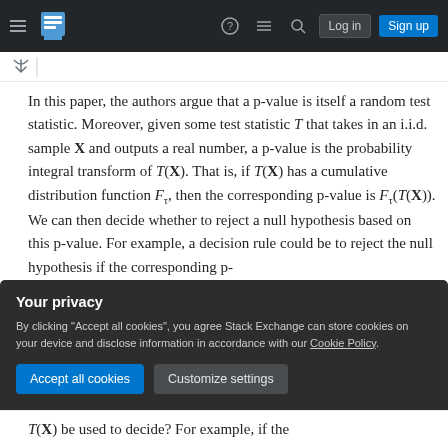Stack Exchange navigation bar with logo, help, chat, search, Log in, Sign up buttons
In this paper, the authors argue that a p-value is itself a random test statistic. Moreover, given some test statistic T that takes in an i.i.d. sample X and outputs a real number, a p-value is the probability integral transform of T(X). That is, if T(X) has a cumulative distribution function F_τ, then the corresponding p-value is F_τ(T(X)). We can then decide whether to reject a null hypothesis based on this p-value. For example, a decision rule could be to reject the null hypothesis if the corresponding p-
Your privacy
By clicking "Accept all cookies", you agree Stack Exchange can store cookies on your device and disclose information in accordance with our Cookie Policy.
[Accept all cookies] [Customize settings]
T(X) be used to decide? For example, if the